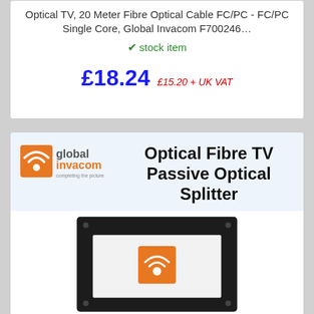Optical TV, 20 Meter Fibre Optical Cable FC/PC - FC/PC Single Core, Global Invacom F700246…
✔ stock item
£18.24  £15.20 + UK VAT
[Figure (logo): Global Invacom logo with orange WiFi-style icon and text 'global invacom completing the picture']
Optical Fibre TV Passive Optical Splitter
[Figure (photo): Photo of a black rectangular optical splitter device with Global Invacom logo visible inside a white inset panel]